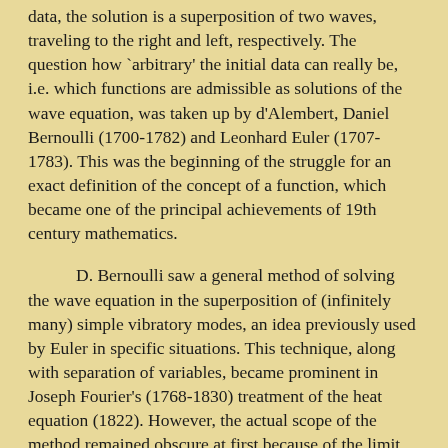data, the solution is a superposition of two waves, traveling to the right and left, respectively. The question how `arbitrary' the initial data can really be, i.e. which functions are admissible as solutions of the wave equation, was taken up by d'Alembert, Daniel Bernoulli (1700-1782) and Leonhard Euler (1707-1783). This was the beginning of the struggle for an exact definition of the concept of a function, which became one of the principal achievements of 19th century mathematics.
D. Bernoulli saw a general method of solving the wave equation in the superposition of (infinitely many) simple vibratory modes, an idea previously used by Euler in specific situations. This technique, along with separation of variables, became prominent in Joseph Fourier's (1768-1830) treatment of the heat equation (1822). However, the actual scope of the method remained obscure at first because of the limit process involved. The idea of separation of variables, which reduces problems in two or more dimensions to a family of one-dimensional problems, is also the basis of tomography, a widely used tool of contemporary medicine.
The fundamental question of Fourier's method,